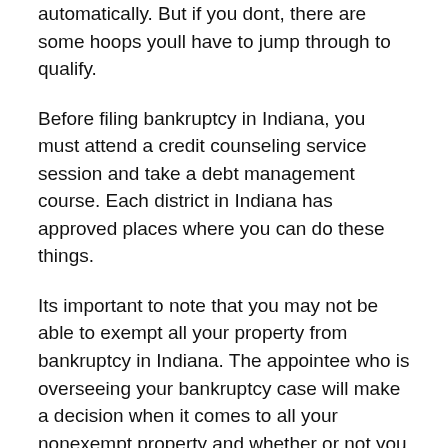income for your household, you can move forward automatically. But if you dont, there are some hoops youll have to jump through to qualify.
Before filing bankruptcy in Indiana, you must attend a credit counseling service session and take a debt management course. Each district in Indiana has approved places where you can do these things.
Its important to note that you may not be able to exempt all your property from bankruptcy in Indiana. The appointee who is overseeing your bankruptcy case will make a decision when it comes to all your nonexempt property and whether or not you have to sell it to satisfy outstanding debts. Its also good to note that its possible to file a joint bankruptcy to double your exemption amount, but if only one of the spouses has ownership of the property , it cannot be doubled.